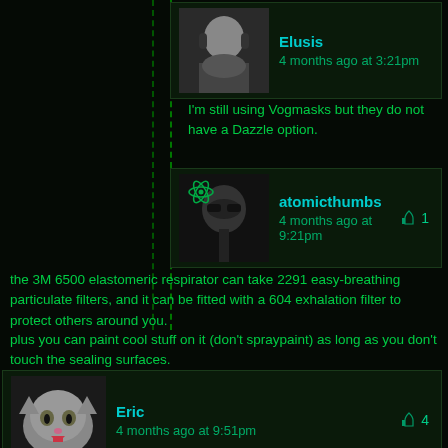Elusis
4 months ago at 3:21pm
I'm still using Vogmasks but they do not have a Dazzle option.
atomicthumbs
4 months ago at 9:21pm
the 3M 6500 elastomeric respirator can take 2291 easy-breathing particulate filters, and it can be fitted with a 604 exhalation filter to protect others around you.
plus you can paint cool stuff on it (don't spraypaint) as long as you don't touch the sealing surfaces.
Eric
4 months ago at 9:51pm
In all seriousness, thanks for holding out for as long as you could.